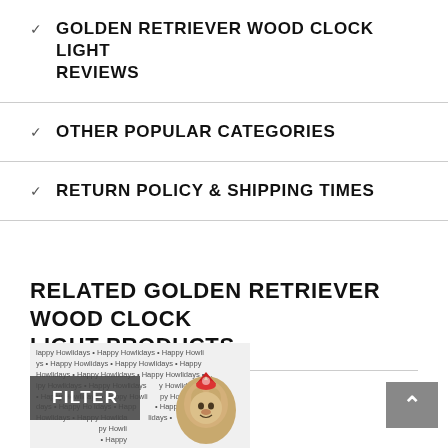GOLDEN RETRIEVER WOOD CLOCK LIGHT REVIEWS
OTHER POPULAR CATEGORIES
RETURN POLICY & SHIPPING TIMES
RELATED GOLDEN RETRIEVER WOOD CLOCK LIGHT PRODUCTS
[Figure (photo): Product image showing a golden retriever wearing a Santa hat with Happy Howlidays text pattern background]
FILTER